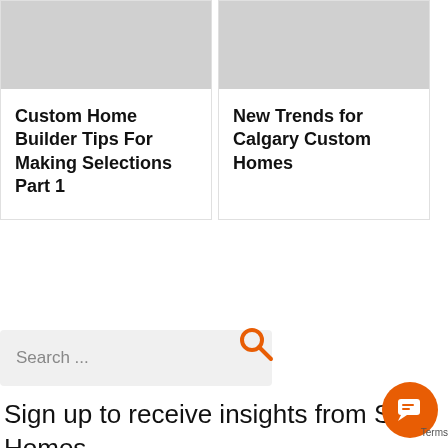[Figure (other): Hamburger menu icon in orange, three horizontal lines]
[Figure (photo): Gray placeholder image for first card]
Custom Home Builder Tips For Making Selections Part 1
[Figure (photo): Gray placeholder image for second card]
New Trends for Calgary Custom Homes
Search ...
[Figure (other): Orange search magnifying glass icon]
Sign up to receive insights from S... Homes
[Figure (other): Orange circular chat button with chat icon]